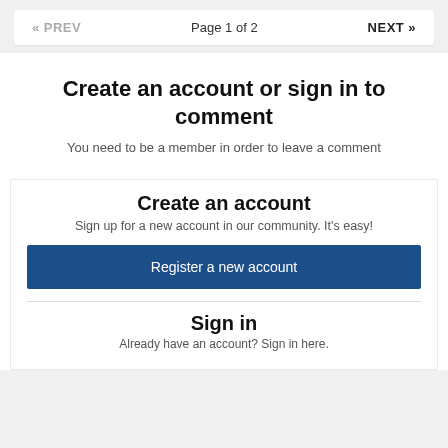« PREV   Page 1 of 2   NEXT »
Create an account or sign in to comment
You need to be a member in order to leave a comment
Create an account
Sign up for a new account in our community. It's easy!
Register a new account
Sign in
Already have an account? Sign in here.